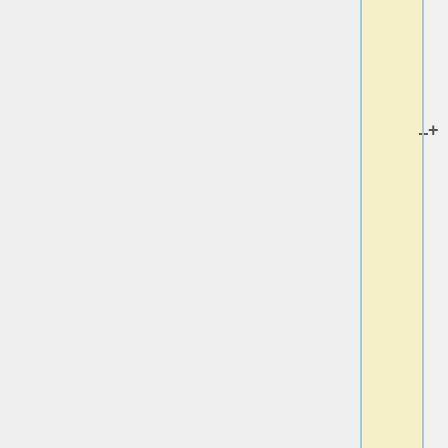ideas for coastline and physical geography an opportunity to post their suggestions now, as there's going to be an election of the final physical geography of Castellán soon''' -- [[User:Martinawa|Martinawa]] ([[User talk:Martinawa|talk]])